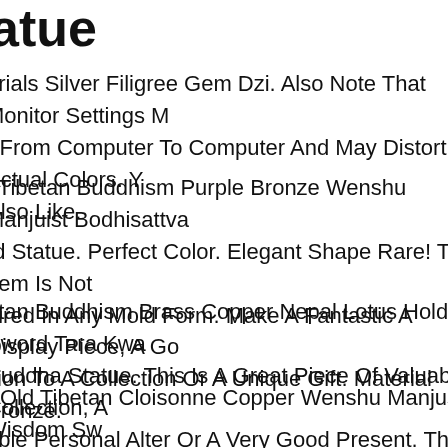atue
erials Silver Filigree Gem Dzi. Also Note That Monitor Settings M r From Computer To Computer And May Distort Actual Colors. Y Also Like.
Tibetan Buddhism Purple Bronze Wenshu Manjuist Bodhisattva rd Statue. Perfect Color. Elegant Shape Rare! This Item Is Not aired In Any Mold Form. Make A Fantastic A Display Piece, A Go ition To A Collection Or A Unique Gift. Material Bronze.
tan Buddhism Brass Copper Nepal Lotus Hold Sword Tara Kwa Buddha Statue. This Is A Great Piece Of Valuable Collection, A able Personal Alter Or A Very Good Present. The Handwork Is V With Incredible Detailing. Don't Miss Out This Chance To Get It n You Good Luck!
" Old Tibetan Cloisonne Copper Wenshu Manjushri Wisdom Sw dha Statue. Also Note That Monitor Settings May Vary From nputer To Computer And May Distort Actual Colors.